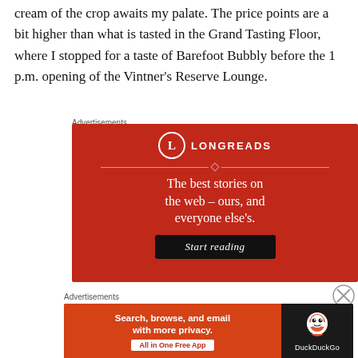cream of the crop awaits my palate. The price points are a bit higher than what is tasted in the Grand Tasting Floor, where I stopped for a taste of Barefoot Bubbly before the 1 p.m. opening of the Vintner's Reserve Lounge.
Advertisements
[Figure (illustration): Longreads advertisement banner on red background. Logo shows letter L in a circle with LONGREADS text. Tagline: The best stories on the web – ours, and everyone else's. Black button: Start reading]
Advertisements
[Figure (illustration): DuckDuckGo advertisement banner. Left side orange: Search, browse, and email with more privacy. All in One Free App button. Right side dark: DuckDuckGo logo duck.]